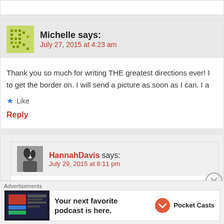Michelle says: July 27, 2015 at 4:23 am
Thank you so much for writing THE greatest directions ever! I to get the border on. I will send a picture as soon as I can. I a
★ Like
Reply
HannahDavis says: July 29, 2015 at 8:11 pm
Thank you I'm so glad you've enjoyed it! Can't wait to see!
★ Like
Advertisements
Your next favorite podcast is here.
[Figure (logo): Pocket Casts logo and text]